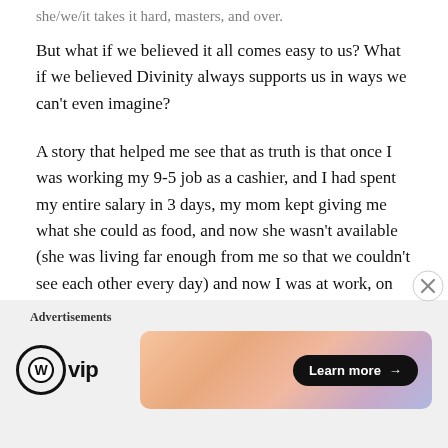But what if we believed it all comes easy to us? What if we believed Divinity always supports us in ways we can't even imagine?
A story that helped me see that as truth is that once I was working my 9-5 job as a cashier, and I had spent my entire salary in 3 days, my mom kept giving me what she could as food, and now she wasn't available (she was living far enough from me so that we couldn't see each other every day) and now I was at work, on the morning shift, 4-5 hours in, with no money, nothing to eat and starving.
Advertisements
[Figure (infographic): WordPress VIP advertisement banner with logo on the left and a colorful gradient banner with a 'Learn more' button on the right.]